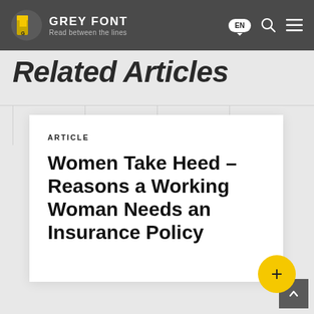GREY FONT — Read between the lines
Related Articles
ARTICLE
Women Take Heed – Reasons a Working Woman Needs an Insurance Policy